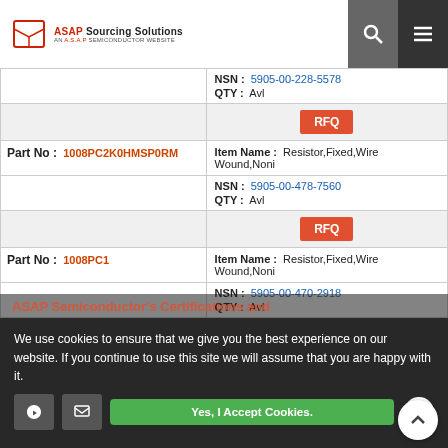ASAP Sourcing Solutions - AN A.S.A.P SEMICONDUCTOR WEBSITE
| Part No | Item Details |
| --- | --- |
| (previous) | NSN: 5905-00-228-5578 | QTY: Avl | RFQ |
| 1008PC2K0HMSP0RM | Item Name: Resistor,Fixed,Wire Wound,Noni | NSN: 5905-00-478-7560 | QTY: Avl | RFQ |
| 1008PC1 | Item Name: Resistor,Fixed,Wire Wound,Noni | NSN: 5905-00-470-2918 | QTY: Avl | RFQ |
We use cookies to ensure that we give you the best experience on our website. If you continue to use this site we will assume that you are happy with it.
ASAP Semiconductor's Certifications and
Yes, I Accept Cookies.